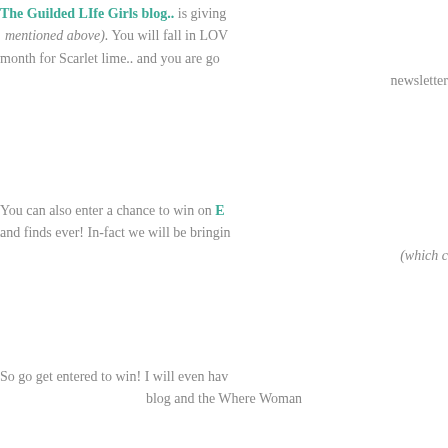The Guilded LIfe Girls blog.. is giving mentioned above). You will fall in LOV month for Scarlet lime.. and you are go newsletter
You can also enter a chance to win on E and finds ever! In-fact we will be bringin (which c
So go get entered to win! I will even hav blog and the Where Woman
What are yo
Love yo
February 14, 2011 in Monday Mooboard | Permal
Comments
[Figure (other): Partial avatar/logo image visible at bottom of page, appears to be a decorative wave/stripe graphic]